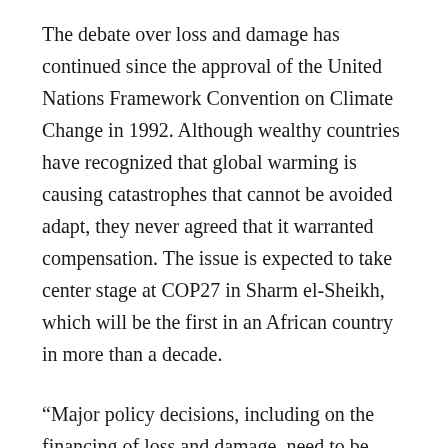The debate over loss and damage has continued since the approval of the United Nations Framework Convention on Climate Change in 1992. Although wealthy countries have recognized that global warming is causing catastrophes that cannot be avoided adapt, they never agreed that it warranted compensation. The issue is expected to take center stage at COP27 in Sharm el-Sheikh, which will be the first in an African country in more than a decade.
“Major policy decisions, including on the financing of loss and damage, need to be taken at COP27,” UNFCCC Executive Secretary Patricia Espinosa said in a statement. “Now we need to make sure that Sharm el-Sheikh will truly be the place where the important promises of the Paris Agreement are delivered.”
Delegates to the Bonn talks, which are designed to focus on technical issues, have run out of negotiating space and will